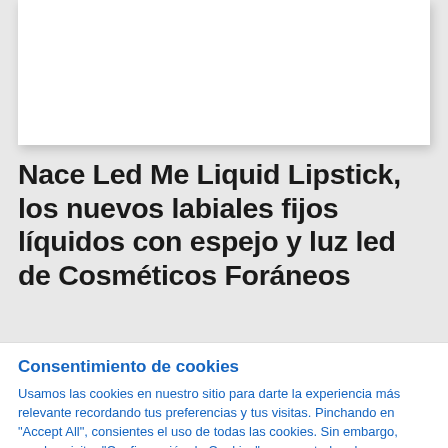[Figure (photo): White rectangular image placeholder area at the top of the page]
Nace Led Me Liquid Lipstick, los nuevos labiales fijos líquidos con espejo y luz led de Cosméticos Foráneos
Consentimiento de cookies
Usamos las cookies en nuestro sitio para darte la experiencia más relevante recordando tus preferencias y tus visitas. Pinchando en "Accept All", consientes el uso de todas las cookies. Sin embargo, puedes visitar "Configuración de Cookies" para controlar el consentimiento.
Cookie Settings | Aceptar todas | Rechazar todas